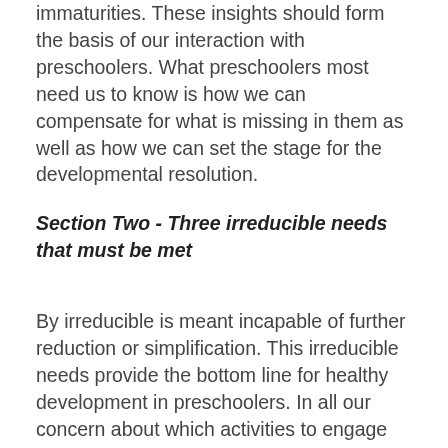immaturities. These insights should form the basis of our interaction with preschoolers. What preschoolers most need us to know is how we can compensate for what is missing in them as well as how we can set the stage for the developmental resolution.
Section Two - Three irreducible needs that must be met
By irreducible is meant incapable of further reduction or simplification. This irreducible needs provide the bottom line for healthy development in preschoolers. In all our concern about which activities to engage them in and what kind of preparation they need for school, we tend to overlook the most fundamental needs of the preschooler.